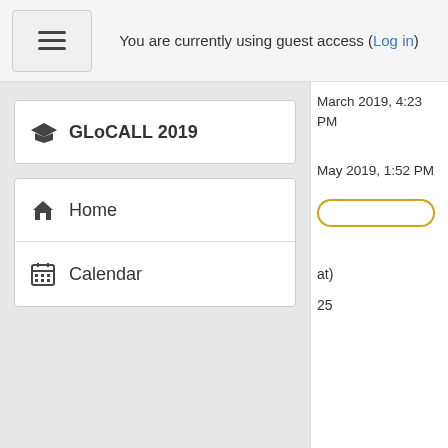You are currently using guest access (Log in)
March 2019, 4:23 PM
May 2019, 1:52 PM
GLoCALL 2019
Home
Calendar
at)
25